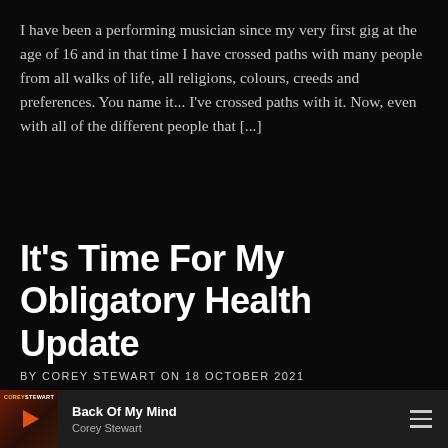I have been a performing musician since my very first gig at the age of 16 and in that time I have crossed paths with many people from all walks of life, all religions, colours, creeds and preferences. You name it... I've crossed paths with it. Now, even with all of the different people that [...]
It's Time For My Obligatory Health Update
BY COREY STEWART ON 18 OCTOBER 2021
[Figure (other): Music player bar at bottom: album art thumbnail for Corey Stewart with play button, track title 'Back Of My Mind', artist 'Corey Stewart', and hamburger menu icon]